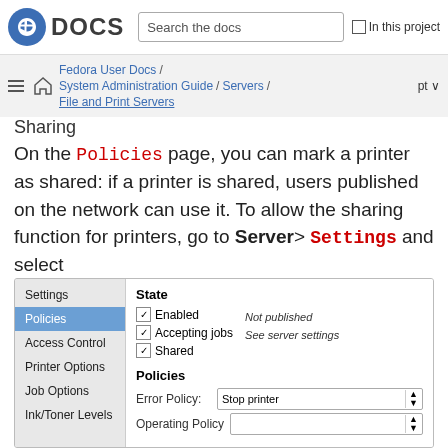DOCS | Search the docs | In this project
Fedora User Docs / System Administration Guide / Servers / File and Print Servers | pt
On the Policies page, you can mark a printer as shared: if a printer is shared, users published on the network can use it. To allow the sharing function for printers, go to Server > Settings and select Publish shared printers connected to this system.
[Figure (screenshot): Screenshot of printer settings dialog showing left sidebar with Settings, Policies (selected), Access Control, Printer Options, Job Options, Ink/Toner Levels items. Right panel shows State section with checkboxes for Enabled, Accepting jobs, Shared (all checked) and note 'Not published / See server settings'. Below is Policies section with Error Policy dropdown showing 'Stop printer'.]